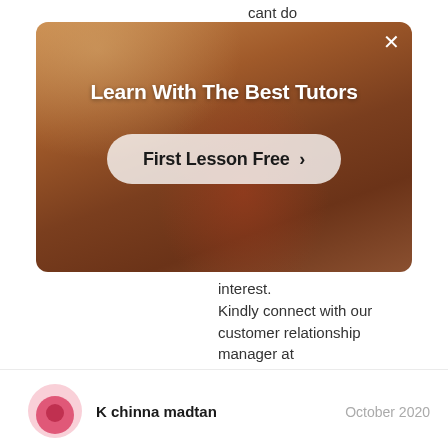cant do
[Figure (screenshot): Advertisement banner for tutoring service showing person in red shirt with text 'Learn With The Best Tutors' and 'First Lesson Free >' button on a warm amber/brown background with X close button]
interest.
Kindly connect with our customer relationship manager at namaste@superprof.com
K chinna madtan
October 2020